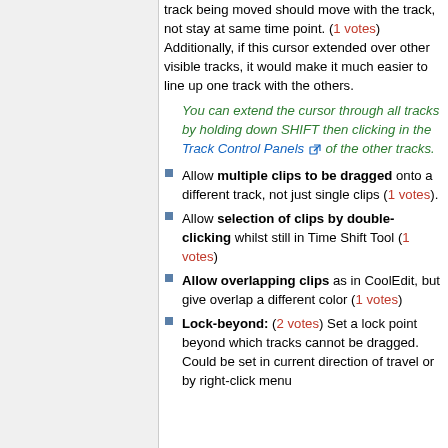track being moved should move with the track, not stay at same time point. (1 votes) Additionally, if this cursor extended over other visible tracks, it would make it much easier to line up one track with the others.
You can extend the cursor through all tracks by holding down SHIFT then clicking in the Track Control Panels of the other tracks.
Allow multiple clips to be dragged onto a different track, not just single clips (1 votes).
Allow selection of clips by double-clicking whilst still in Time Shift Tool (1 votes)
Allow overlapping clips as in CoolEdit, but give overlap a different color (1 votes)
Lock-beyond: (2 votes) Set a lock point beyond which tracks cannot be dragged. Could be set in current direction of travel or by right-click menu